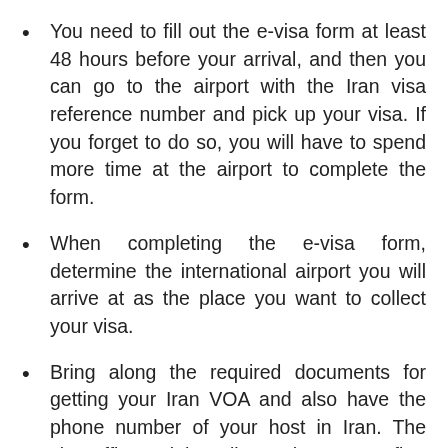You need to fill out the e-visa form at least 48 hours before your arrival, and then you can go to the airport with the Iran visa reference number and pick up your visa. If you forget to do so, you will have to spend more time at the airport to complete the form.
When completing the e-visa form, determine the international airport you will arrive at as the place you want to collect your visa.
Bring along the required documents for getting your Iran VOA and also have the phone number of your host in Iran. The visa officer might call your host to confirm your booking.
Valid Travel Insurance is needed at the Iranian Airports. Make sure “Iran” is mentioned in your travel insurance coverage because the officer will not accept general words such as Asia or